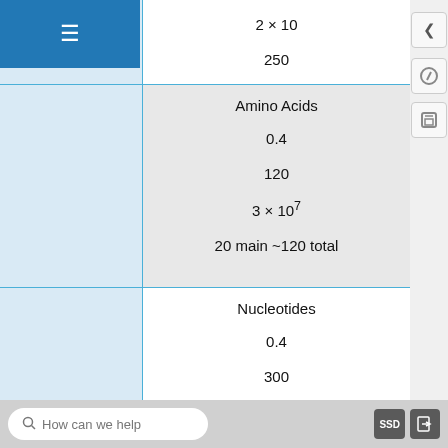|  | 2 × 10 | 250 | Amino Acids | 0.4 | 120 | 3 × 10^7 | 20 main ~120 total | Nucleotides | 0.4 | 300 |
| --- | --- | --- | --- | --- | --- | --- | --- | --- | --- | --- |
|  | 2 × 10 | 250 |
|  | Amino Acids | 0.4 | 120 | 3 × 10^7 | 20 main ~120 total |
|  | Nucleotides | 0.4 | 300 |